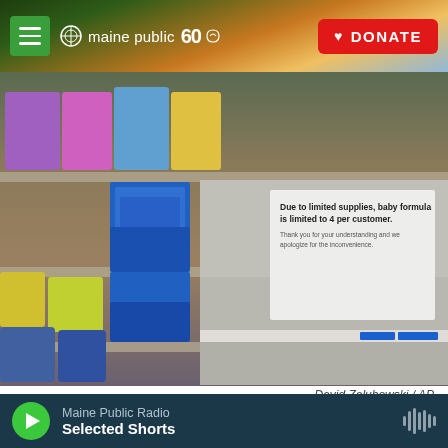maine public 60 | DONATE
[Figure (photo): Store shelf showing baby formula products stacked on one side, with largely empty shelves on the right. A sign is posted reading: 'Due to limited supplies, baby formula is limited to 4 per customer. Thank you for your understanding and we apologize for the inconvenience.']
David Zalubowski / AP
A sign telling consumers of limits on the purchase of baby formula hangs
Maine Public Radio | Selected Shorts